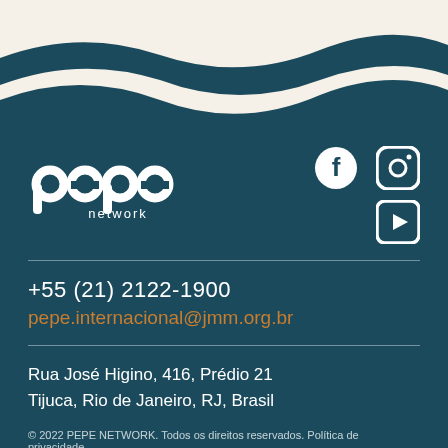[Figure (logo): PEPE network logo in white on teal background, with Facebook, Instagram, and YouTube social media icons]
+55 (21) 2122-1900
pepe.internacional@jmm.org.br
Rua José Higino, 416, Prédio 21
Tijuca, Rio de Janeiro, RJ, Brasil
© 2022 PEPE NETWORK. Todos os direitos reservados. Política de privacidade.